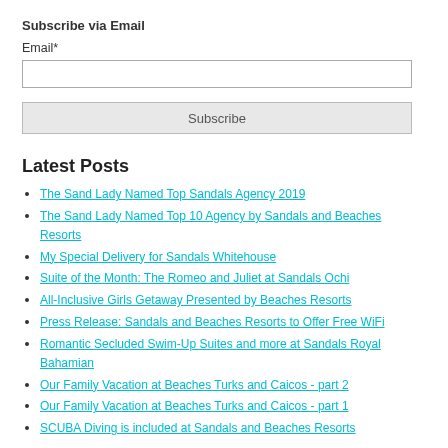Subscribe via Email
Email*
Latest Posts
The Sand Lady Named Top Sandals Agency 2019
The Sand Lady Named Top 10 Agency by Sandals and Beaches Resorts
My Special Delivery for Sandals Whitehouse
Suite of the Month: The Romeo and Juliet at Sandals Ochi
All-Inclusive Girls Getaway Presented by Beaches Resorts
Press Release: Sandals and Beaches Resorts to Offer Free WiFi
Romantic Secluded Swim-Up Suites and more at Sandals Royal Bahamian
Our Family Vacation at Beaches Turks and Caicos - part 2
Our Family Vacation at Beaches Turks and Caicos - part 1
SCUBA Diving is included at Sandals and Beaches Resorts
Posts by Category: